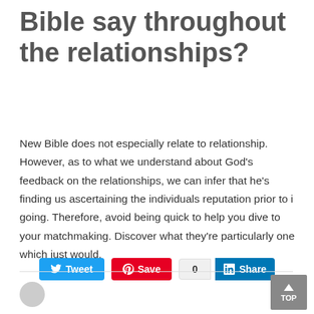Bible say throughout the relationships?
New Bible does not especially relate to relationship. However, as to what we understand about God's feedback on the relationships, we can infer that he's finding us ascertaining the individuals reputation prior to i going. Therefore, avoid being quick to help you dive to your matchmaking. Discover what they're particularly one which just would.
[Figure (infographic): Social sharing buttons: Tweet (blue), Save (red Pinterest), share count 0, LinkedIn Share (blue)]
[Figure (infographic): Top scroll-to-top button (grey) with up arrow and TOP label]